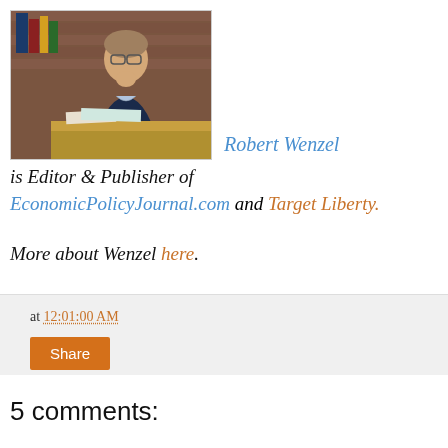[Figure (photo): Photo of Robert Wenzel sitting at a desk with books behind him, brick wall background, wearing a blue blazer and plaid shirt, hand raised to chin in thoughtful pose]
Robert Wenzel is Editor & Publisher of EconomicPolicyJournal.com and Target Liberty.
More about Wenzel here.
at 12:01:00 AM
Share
5 comments: